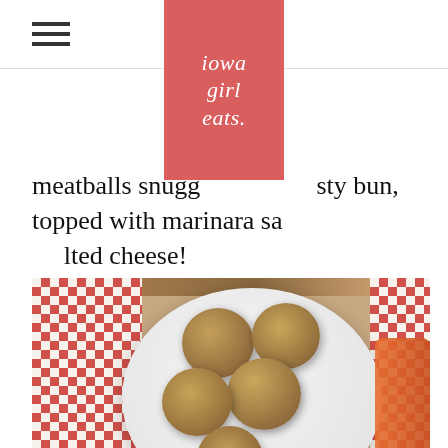iowa girl eats.
meatballs snuggled in a crusty bun, topped with marinara sauce and melted cheese!
[Figure (photo): A white plate of zucchini meatballs served with a bowl of marinara sauce and fresh basil leaves, on a red and white checkered tablecloth]